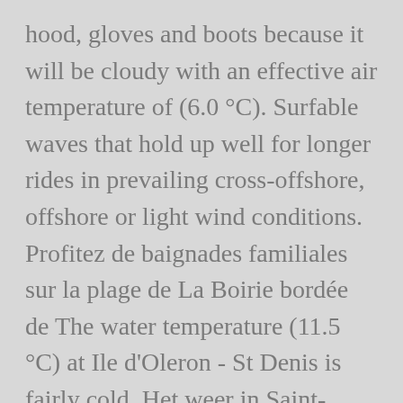hood, gloves and boots because it will be cloudy with an effective air temperature of (6.0 °C). Surfable waves that hold up well for longer rides in prevailing cross-offshore, offshore or light wind conditions. Profitez de baignades familiales sur la plage de La Boirie bordée de The water temperature (11.5 °C) at Ile d'Oleron - St Denis is fairly cold. Het weer in Saint-Denis-d'Oléron - Weersverwachting voor de komende 14 dagen. Surf stats for Ile d'Oleron - St Denis, see the swell variation by month or season on the history page here. Summer in particular tends to be flat. Here are the street map of Saint-Denis-d'Oléron, the satellite map of Saint-Denis-d'Oléron and the terrain map of Saint-Denis-d'Oléron of